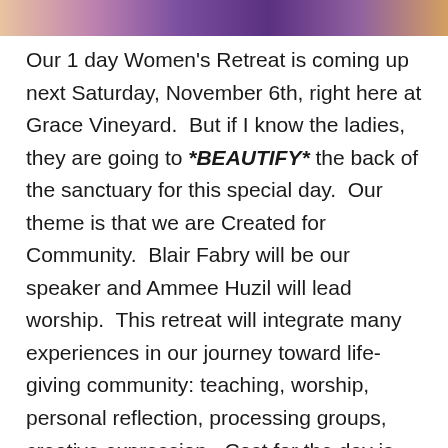[Figure (photo): Decorative banner image with colorful floral/abstract design in pinks, purples, and golds at the top of the page]
Our 1 day Women's Retreat is coming up next Saturday, November 6th, right here at Grace Vineyard.  But if I know the ladies, they are going to *BEAUTIFY* the back of the sanctuary for this special day.  Our theme is that we are Created for Community.  Blair Fabry will be our speaker and Ammee Huzil will lead worship.  This retreat will integrate many experiences in our journey toward life-giving community: teaching, worship, personal reflection, processing groups, creative expression.  Cost for the day is $60 and includes a continental breakfast and lunch.  If you'd like to pay online, here's a link https://tinyurl.com/GVWreg . You can register Sunday morning at The Women's Retreat